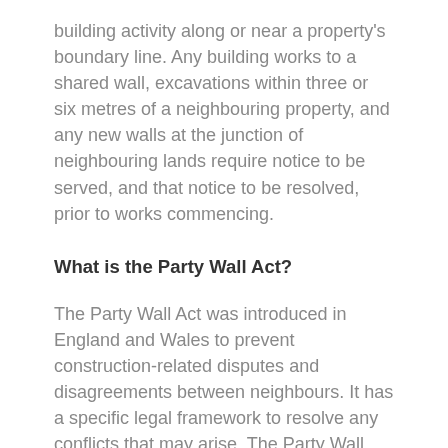building activity along or near a property's boundary line. Any building works to a shared wall, excavations within three or six metres of a neighbouring property, and any new walls at the junction of neighbouring lands require notice to be served, and that notice to be resolved, prior to works commencing.
What is the Party Wall Act?
The Party Wall Act was introduced in England and Wales to prevent construction-related disputes and disagreements between neighbours. It has a specific legal framework to resolve any conflicts that may arise. The Party Wall Act prohibits an owner from undertaking construction work that could compromise the structural integrity of the